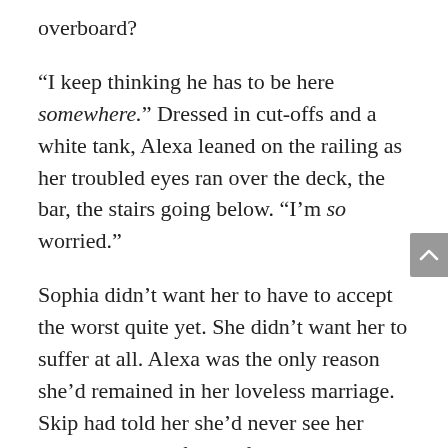overboard?
“I keep thinking he has to be here somewhere.” Dressed in cut-offs and a white tank, Alexa leaned on the railing as her troubled eyes ran over the deck, the bar, the stairs going below. “I’m so worried.”
Sophia didn’t want her to have to accept the worst quite yet. She didn’t want her to suffer at all. Alexa was the only reason she’d remained in her loveless marriage. Skip had told her she’d never see her daughter again if she left, and she believed him. He had the support of a rich and powerful family who lived in the same small town they did. With her own mother diagnosed with schizophrenia and her father